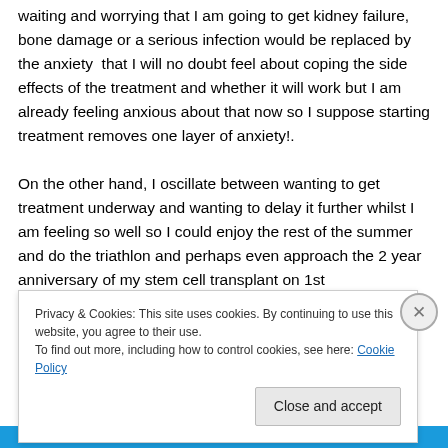waiting and worrying that I am going to get kidney failure, bone damage or a serious infection would be replaced by the anxiety that I will no doubt feel about coping the side effects of the treatment and whether it will work but I am already feeling anxious about that now so I suppose starting treatment removes one layer of anxiety!.
On the other hand, I oscillate between wanting to get treatment underway and wanting to delay it further whilst I am feeling so well so I could enjoy the rest of the summer and do the triathlon and perhaps even approach the 2 year anniversary of my stem cell transplant on 1st
Privacy & Cookies: This site uses cookies. By continuing to use this website, you agree to their use.
To find out more, including how to control cookies, see here: Cookie Policy
Close and accept